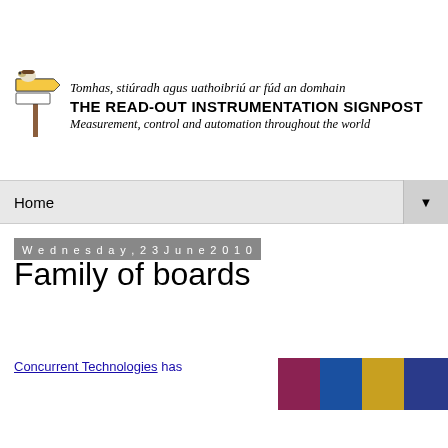[Figure (logo): The Read-Out Instrumentation Signpost logo with signpost bird mascot illustration and bilingual text]
Home
Wednesday, 23 June 2010
Family of boards
Concurrent Technologies has
[Figure (illustration): Colorful banner/strip image on right sidebar]